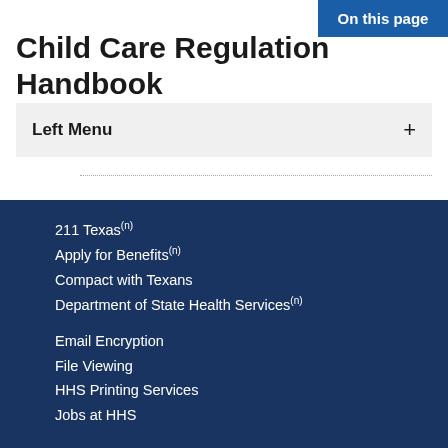On this page
Child Care Regulation Handbook
Left Menu +
211 Texas(n)
Apply for Benefits(n)
Compact with Texans
Department of State Health Services(n)
Email Encryption
File Viewing
HHS Printing Services
Jobs at HHS